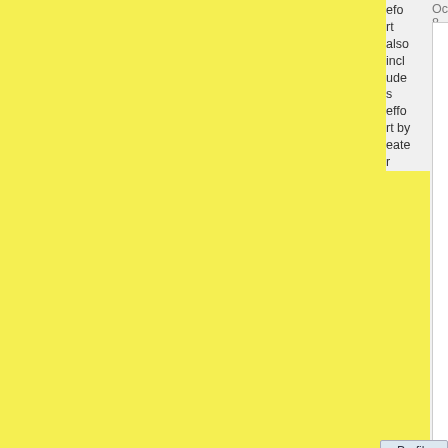Oct 8, 2017
[Figure (photo): A package of Peeps Marshmallow chicks, yellow colored, with 10 chicks visible through the packaging window. The yellow box shows the Peeps brand logo in dark blue/purple lettering with 'Marshmallow' below it. Small text reads 'Gluten Free & Fat Free' and '10 Chicks'.]
I love peeps
Nap Ghost
efo
rt
also
incl
ude
s
effo
rt by
eate
r
May 10, 2021 03:17
Profile
Post H
Rap Sh
QUOTE
TraderStav